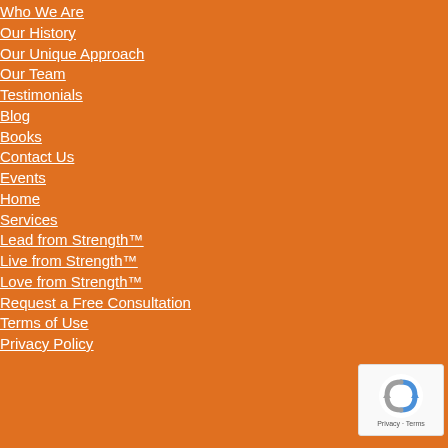Who We Are
Our History
Our Unique Approach
Our Team
Testimonials
Blog
Books
Contact Us
Events
Home
Services
Lead from Strength™
Live from Strength™
Love from Strength™
Request a Free Consultation
Terms of Use
Privacy Policy
[Figure (logo): Google reCAPTCHA badge with recycling-arrow logo and Privacy · Terms text]